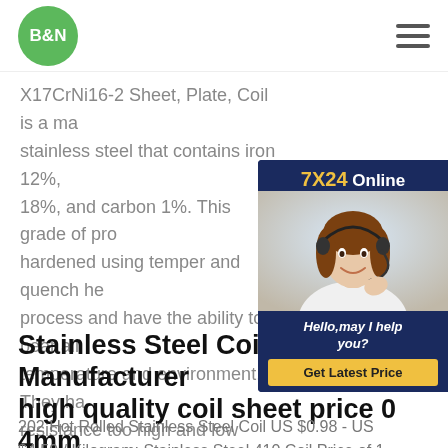[Figure (logo): B&N logo — green circle with white bold text B&N]
[Figure (infographic): Hamburger menu icon — three horizontal dark lines]
X17CrNi16-2 Sheet, Plate, Coil is a ma... stainless steel that contains iron 12%, 18%, and carbon 1%. This grade of pro... hardened using temper and quench he... process and have the ability to bear all temperature and environment. They ha... resistance too high and low temperatu...
[Figure (infographic): Chat widget with dark navy background, 7X24 Online header in yellow/white, photo of woman with headset, text Hello,may I help you?, yellow Get Latest Price button]
Stainless Steel Coil Manufacturer high quality coil sheet price 0 4mm sheet coil - SS Perforated Sheet
202 Hot Rolled Stainless Steel Coil US $0.98 - US $4.59 / Kilogram; Stainless Steel 410 Coil Price of 1